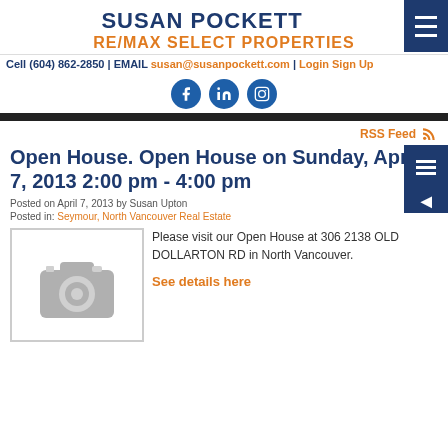SUSAN POCKETT
RE/MAX SELECT PROPERTIES
Cell (604) 862-2850 | EMAIL susan@susanpockett.com | Login Sign Up
[Figure (illustration): Social media icons: Facebook, LinkedIn, Instagram - blue circular buttons]
Open House. Open House on Sunday, April 7, 2013 2:00 pm - 4:00 pm
Posted on April 7, 2013 by Susan Upton
Posted in: Seymour, North Vancouver Real Estate
[Figure (photo): Camera placeholder image - gray camera icon on white background with border]
Please visit our Open House at 306 2138 OLD DOLLARTON RD in North Vancouver.
See details here